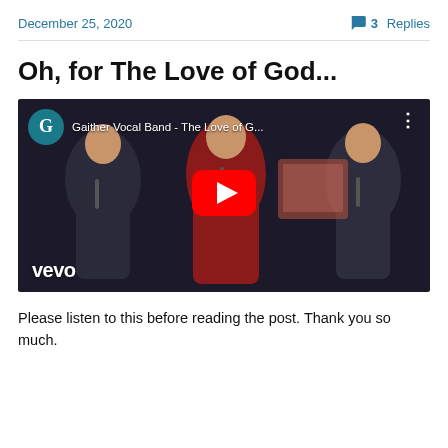December 25, 2020
3 Replies
Oh, for The Love of God...
[Figure (screenshot): YouTube video thumbnail showing the Gaither Vocal Band performing 'The Love of G...' with three men singing on stage, a red YouTube play button overlay in the center, and the Vevo logo in the bottom left. The channel icon shows a teal 'G' logo.]
Please listen to this before reading the post. Thank you so much.